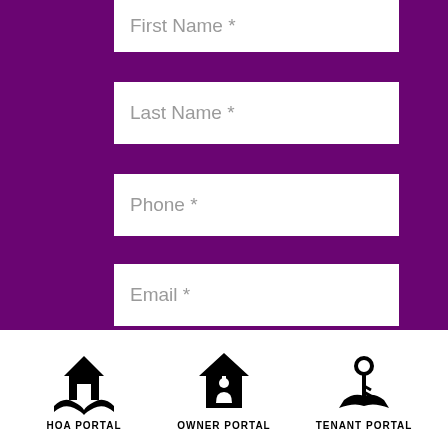[Figure (screenshot): A web form with purple background showing input fields: First Name, Last Name, Phone, Email, Are you an owner or a renter?, and Property Address (partially visible)]
[Figure (infographic): Three portal icons at the bottom: HOA PORTAL (house with hands icon), OWNER PORTAL (house with person icon), TENANT PORTAL (key/hand icon)]